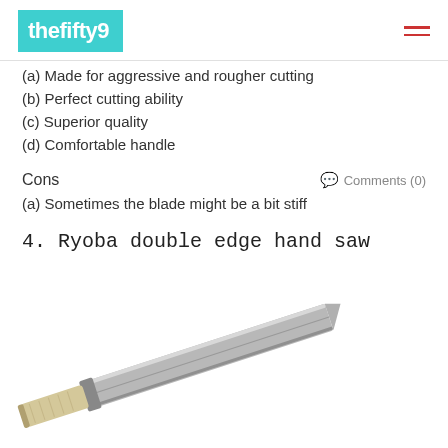thefifty9
(a) Made for aggressive and rougher cutting
(b) Perfect cutting ability
(c) Superior quality
(d) Comfortable handle
Cons
Comments (0)
(a) Sometimes the blade might be a bit stiff
4. Ryoba double edge hand saw
[Figure (photo): A Ryoba double edge hand saw with a metal blade and wooden handle, photographed diagonally on a white background.]